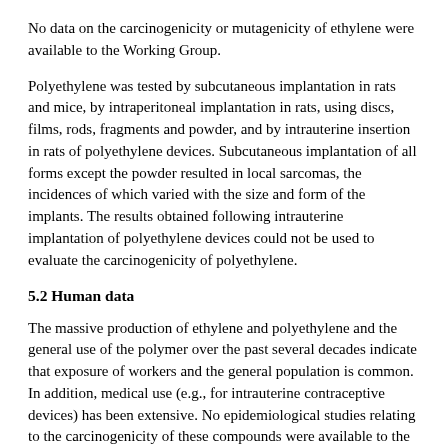No data on the carcinogenicity or mutagenicity of ethylene were available to the Working Group.
Polyethylene was tested by subcutaneous implantation in rats and mice, by intraperitoneal implantation in rats, using discs, films, rods, fragments and powder, and by intrauterine insertion in rats of polyethylene devices. Subcutaneous implantation of all forms except the powder resulted in local sarcomas, the incidences of which varied with the size and form of the implants. The results obtained following intrauterine implantation of polyethylene devices could not be used to evaluate the carcinogenicity of polyethylene.
5.2 Human data
The massive production of ethylene and polyethylene and the general use of the polymer over the past several decades indicate that exposure of workers and the general population is common. In addition, medical use (e.g., for intrauterine contraceptive devices) has been extensive. No epidemiological studies relating to the carcinogenicity of these compounds were available to the Working Group.
5.3 Evaluation